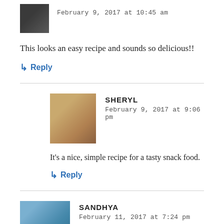[Figure (photo): Small avatar photo of a person wearing dark clothing, top-left corner]
February 9, 2017 at 10:45 am
This looks an easy recipe and sounds so delicious!!
↳ Reply
SHERYL
February 9, 2017 at 9:06 pm
It's a nice, simple recipe for a tasty snack food.
↳ Reply
SANDHYA
February 11, 2017 at 7:24 pm
Wow! What a good recipe and so simple, I would